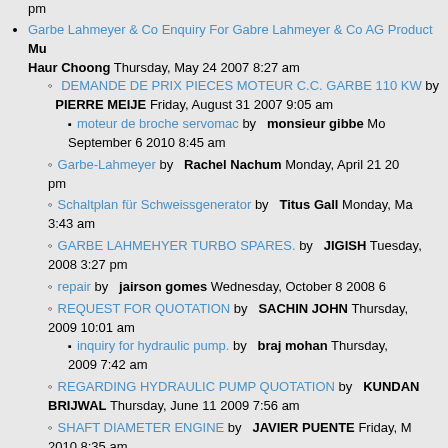pm
Garbe Lahmeyer & Co Enquiry For Gabre Lahmeyer & Co AG Product  Mu... Haur Choong Thursday, May 24 2007 8:27 am
DEMANDE DE PRIX PIECES MOTEUR C.C. GARBE 110 KW by PIERRE MEIJE Friday, August 31 2007 9:05 am
moteur de broche servomac by  monsieur gibbe Mo... September 6 2010 8:45 am
Garbe-Lahmeyer by  Rachel Nachum Monday, April 21 20... pm
Schaltplan für Schweissgenerator by  Titus Gall Monday, Ma... 3:43 am
GARBE LAHMEHYER TURBO SPARES. by  JIGISH Tuesday,... 2008 3:27 pm
repair by  jairson gomes Wednesday, October 8 2008 6...
REQUEST FOR QUOTATION by  SACHIN JOHN Thursday,... 2009 10:01 am
inquiry for hydraulic pump. by  braj mohan Thursday,... 2009 7:42 am
REGARDING HYDRAULIC PUMP QUOTATION by  KUNDAN BRIJWAL Thursday, June 11 2009 7:56 am
SHAFT DIAMETER ENGINE by  JAVIER PUENTE Friday, M... 2010 8:35 am
carbon brush info by  dimitrios rakitzis Tuesday, Novemb... 7:44 am
Spec. of carbon brush and accessories for DC motor by phutthiphongphun Monday, Novem...011 1...
need catalog by  MOHAMED ALY KHALA... arch... 1:35 pm
Reglerplatine für Generator by  Karl-Josef Ha... Wed... April 20 2011 4:05 pm